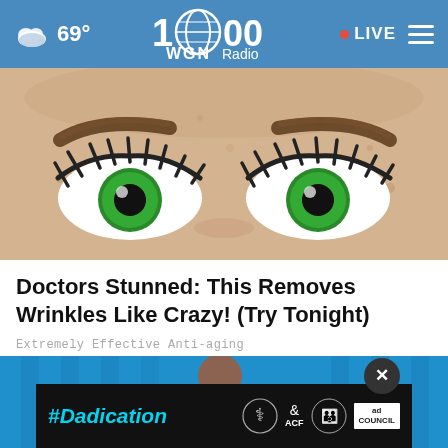69° WGN Radio • LIVE
[Figure (illustration): Close-up illustration of cartoon eyes with green irises, dark eyelashes, and skin texture suggesting aging — used as imagery for anti-aging advertisement]
Doctors Stunned: This Removes Wrinkles Like Crazy! (Try Tonight)
Extremely Effective Anti-aging
[Figure (photo): Woman with head tilted back against blue ribbed background — tanning salon or relaxation setting]
[Figure (other): Advertisement banner: #Dadication with HHS, ACF, National Responsible Fatherhood Clearinghouse, and Ad Council logos]